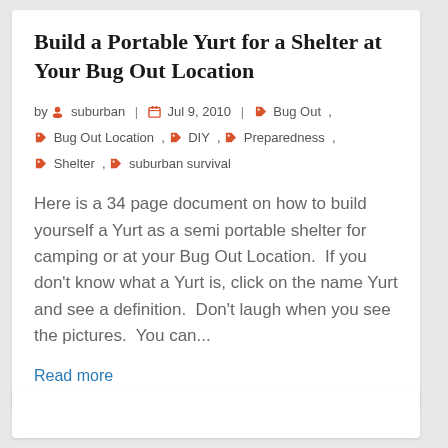Build a Portable Yurt for a Shelter at Your Bug Out Location
by suburban | Jul 9, 2010 | Bug Out , Bug Out Location , DIY , Preparedness , Shelter , suburban survival
Here is a 34 page document on how to build yourself a Yurt as a semi portable shelter for camping or at your Bug Out Location.  If you don't know what a Yurt is, click on the name Yurt and see a definition.  Don't laugh when you see the pictures.  You can...
Read more